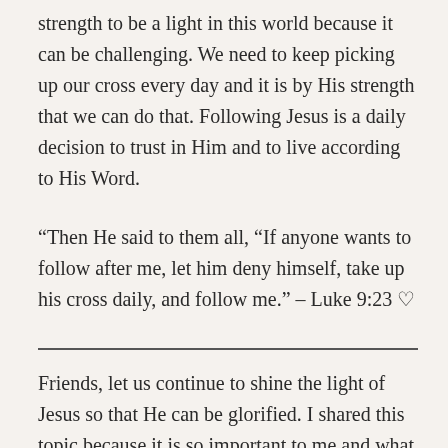strength to be a light in this world because it can be challenging. We need to keep picking up our cross every day and it is by His strength that we can do that. Following Jesus is a daily decision to trust in Him and to live according to His Word.
“Then He said to them all, “If anyone wants to follow after me, let him deny himself, take up his cross daily, and follow me.” – Luke 9:23 ♡
Friends, let us continue to shine the light of Jesus so that He can be glorified. I shared this topic because it is so important to me and what